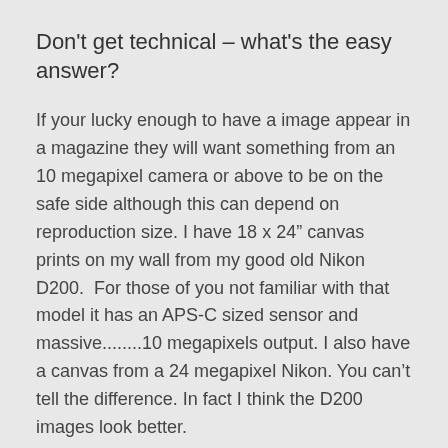Don't get technical – what's the easy answer?
If your lucky enough to have a image appear in a magazine they will want something from an 10 megapixel camera or above to be on the safe side although this can depend on reproduction size. I have 18 x 24" canvas prints on my wall from my good old Nikon D200.  For those of you not familiar with that model it has an APS-C sized sensor and massive........10 megapixels output. I also have a canvas from a 24 megapixel Nikon. You can't tell the difference. In fact I think the D200 images look better.
You need a sharp shot to start with. If you've got